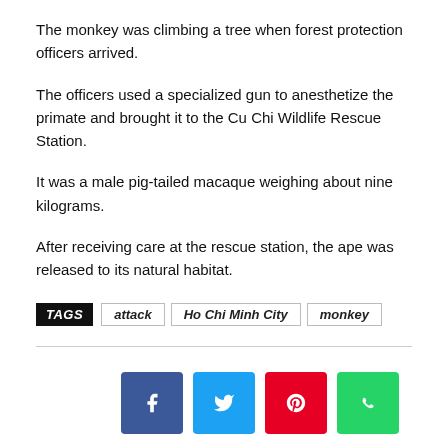The monkey was climbing a tree when forest protection officers arrived.
The officers used a specialized gun to anesthetize the primate and brought it to the Cu Chi Wildlife Rescue Station.
It was a male pig-tailed macaque weighing about nine kilograms.
After receiving care at the rescue station, the ape was released to its natural habitat.
TAGS  attack  Ho Chi Minh City  monkey
[Figure (other): Social share buttons: Facebook, Twitter, Pinterest, WhatsApp]